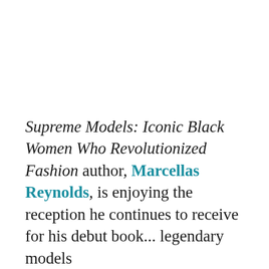Supreme Models: Iconic Black Women Who Revolutionized Fashion author, Marcellas Reynolds, is enjoying the reception he continues to receive for his debut book... legendary models